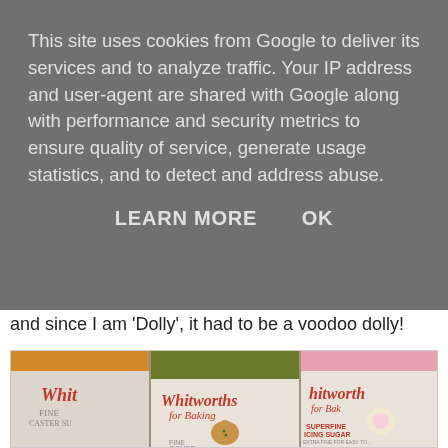This site uses cookies from Google to deliver its services and to analyze traffic. Your IP address and user-agent are shared with Google along with performance and security metrics to ensure quality of service, generate usage statistics, and to detect and address abuse.
LEARN MORE    OK
and since I am 'Dolly', it had to be a voodoo dolly!
[Figure (photo): Three Whitworths for Baking sugar product bags arranged side by side on a surface. The left bag shows Fine Caster Sugar, the middle bag shows Fine Gingerbread mix with a small gingerbread man cookie on top, and the right bag shows Superfine Icing Sugar. All bags are white with red Whitworths for Baking branding.]